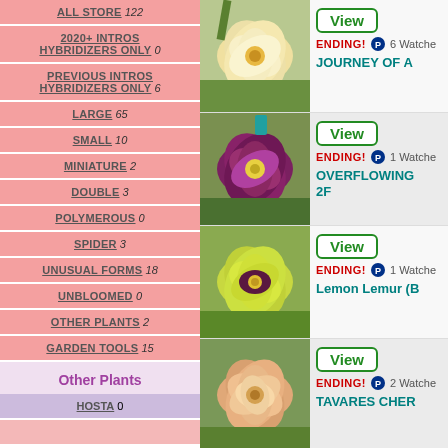ALL STORE 122
2020+ INTROS HYBRIDIZERS ONLY 0
PREVIOUS INTROS HYBRIDIZERS ONLY 6
LARGE 65
SMALL 10
MINIATURE 2
DOUBLE 3
POLYMEROUS 0
SPIDER 3
UNUSUAL FORMS 18
UNBLOOMED 0
OTHER PLANTS 2
GARDEN TOOLS 15
Other Plants
HOSTA 0
[Figure (photo): Yellow/cream daylily flower]
View | ENDING! | 6 Watchers | JOURNEY OF A
[Figure (photo): Dark purple/magenta daylily flower]
View | ENDING! | 1 Watcher | OVERFLOWING 2F
[Figure (photo): Yellow-green daylily with dark eye]
View | ENDING! | 1 Watcher | Lemon Lemur (B
[Figure (photo): Peach/apricot ruffled daylily]
View | ENDING! | 2 Watchers | TAVARES CHER